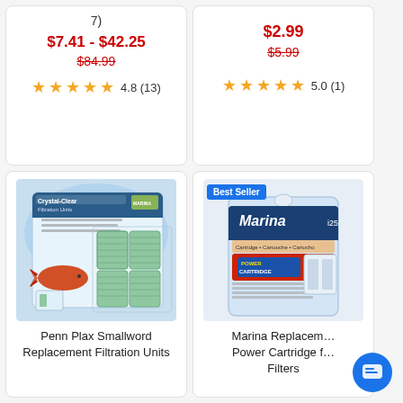7)
$7.41 - $42.25
$84.99 (strikethrough)
4.8 (13)
$2.99
$5.99 (strikethrough)
5.0 (1)
[Figure (photo): Penn Plax Smallword Replacement Filtration Units product package showing Crystal-Clear Filtration Units with a betta fish and four green filter cartridges]
Penn Plax Smallword Replacement Filtration Units
[Figure (photo): Marina Replacement Power Cartridge for i25 Filters product package with Best Seller badge, showing a Marina branded bag with Power Cartridge label and a filter image]
Marina Replacement Power Cartridge for i25 Filters